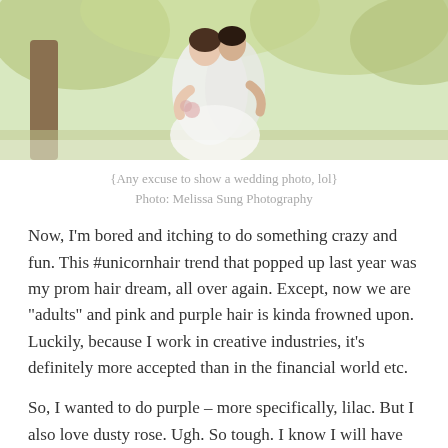[Figure (photo): Wedding photo showing two people embracing outdoors near a tree with greenery in background]
{Any excuse to show a wedding photo, lol}
Photo: Melissa Sung Photography
Now, I'm bored and itching to do something crazy and fun.  This #unicornhair trend that popped up last year was my prom hair dream, all over again.  Except, now we are “adults” and pink and purple hair is kinda frowned upon.  Luckily, because I work in creative industries, it's definitely more accepted than in the financial world etc.
So, I wanted to do purple – more specifically, lilac.  But I also love dusty rose.  Ugh.  So tough. I know I will have